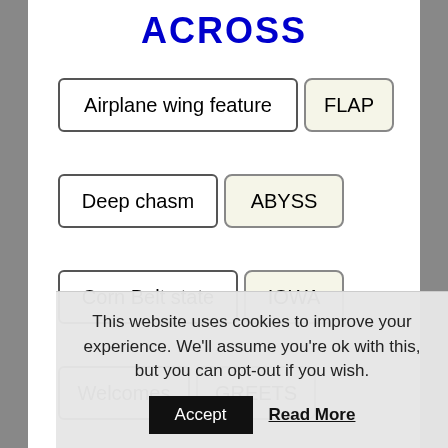ACROSS
Airplane wing feature | FLAP
Deep chasm | ABYSS
Corn Belt state | IOWA
Welcomes | GREETS
This website uses cookies to improve your experience. We'll assume you're ok with this, but you can opt-out if you wish.
Accept
Read More